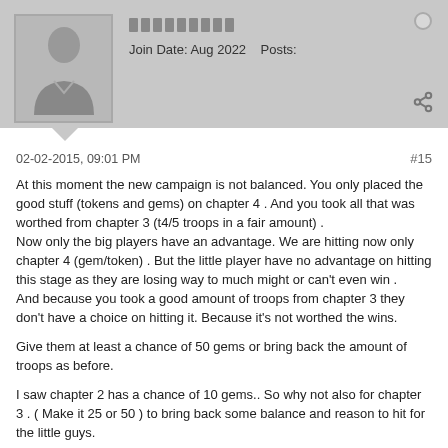Username | Join Date: Aug 2022 | Posts:
02-02-2015, 09:01 PM
#15
At this moment the new campaign is not balanced. You only placed the good stuff (tokens and gems) on chapter 4 . And you took all that was worthed from chapter 3 (t4/5 troops in a fair amount) .
Now only the big players have an advantage. We are hitting now only chapter 4 (gem/token) . But the little player have no advantage on hitting this stage as they are losing way to much might or can't even win .
And because you took a good amount of troops from chapter 3 they don't have a choice on hitting it. Because it's not worthed the wins.

Give them at least a chance of 50 gems or bring back the amount of troops as before.

I saw chapter 2 has a chance of 10 gems.. So why not also for chapter 3 . ( Make it 25 or 50 ) to bring back some balance and reason to hit for the little guys.

Another suggestion is put gear like s1, s2 or s3 on chapter 3 or 4 so the little ones can hit for this gear and become stronger to hit chapter 4 .
(If you don't want to put gems)